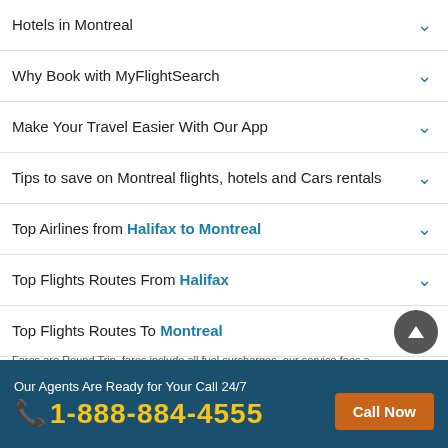Hotels in Montreal
Why Book with MyFlightSearch
Make Your Travel Easier With Our App
Tips to save on Montreal flights, hotels and Cars rentals
Top Airlines from Halifax to Montreal
Top Flights Routes From Halifax
Top Flights Routes To Montreal
Fares are Round Trip, fares include all fuel surcharges, our service fees a
Our Agents Are Ready for Your Call 24/7
1-888-884-4555
Call Now